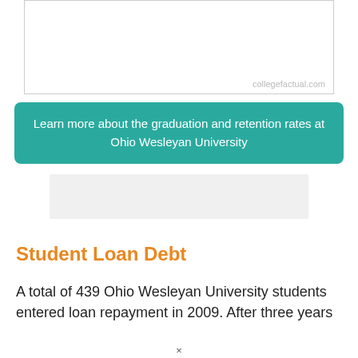[Figure (other): Empty chart placeholder box with collegefactual.com watermark]
Learn more about the graduation and retention rates at Ohio Wesleyan University
[Figure (other): Advertisement placeholder box (light gray rectangle)]
Student Loan Debt
A total of 439 Ohio Wesleyan University students entered loan repayment in 2009. After three years